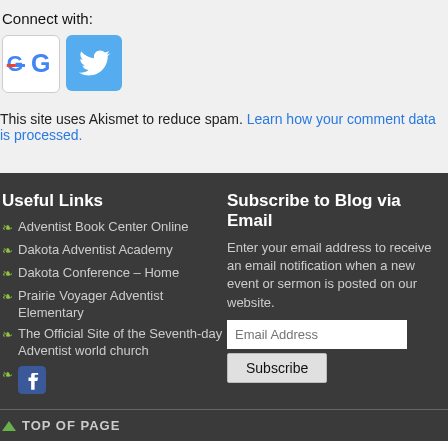Connect with:
[Figure (logo): Google G logo icon in white square with grey border]
[Figure (logo): Twitter bird logo icon on blue square background]
This site uses Akismet to reduce spam. Learn how your comment data is processed.
Useful Links
Adventist Book Center Online
Dakota Adventist Academy
Dakota Conference – Home
Prairie Voyager Adventist Elementary
The Official Site of the Seventh-day Adventist world church
Facebook icon
Subscribe to Blog via Email
Enter your email address to receive an email notification when a new event or sermon is posted on our website.
TOP OF PAGE